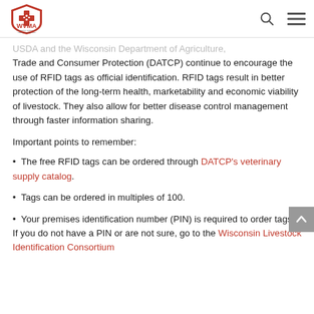WVMA - Wisconsin Veterinary Medical Association
USDA and the Wisconsin Department of Agriculture, Trade and Consumer Protection (DATCP) continue to encourage the use of RFID tags as official identification. RFID tags result in better protection of the long-term health, marketability and economic viability of livestock. They also allow for better disease control management through faster information sharing.
Important points to remember:
The free RFID tags can be ordered through DATCP's veterinary supply catalog.
Tags can be ordered in multiples of 100.
Your premises identification number (PIN) is required to order tags. If you do not have a PIN or are not sure, go to the Wisconsin Livestock Identification Consortium